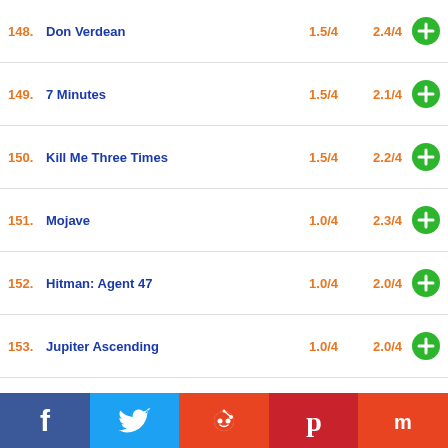148. Don Verdean  1.5/4  2.4/4
149. 7 Minutes  1.5/4  2.1/4
150. Kill Me Three Times  1.5/4  2.2/4
151. Mojave  1.0/4  2.3/4
152. Hitman: Agent 47  1.0/4  2.0/4
153. Jupiter Ascending  1.0/4  2.0/4
154. Point Break (2015)  1.0/4  1.7/4
155. The Last Witch Hunter  1.0/4  2.0/4
156. Pan  1.0/4  2.0/4
157. The Transporter Refueled  1.0/4  2.1/4
158. Hot Tub Time Machine 2  1.0/4  1.0/4
[Figure (other): Social media sharing bar with Facebook, Twitter, Reddit, Pinterest, Mix buttons]